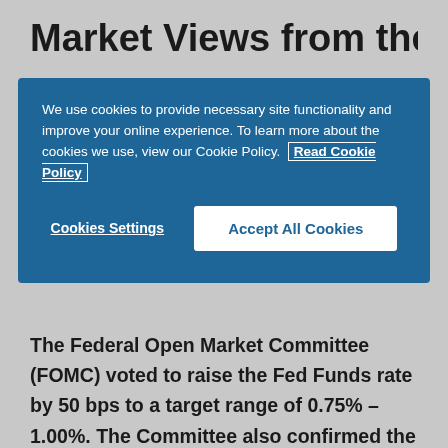Market Views from the
We use cookies to provide necessary site functionality and improve your online experience. To learn more about the cookies we use, view our Cookie Policy.  Read Cookie Policy
The Federal Open Market Committee (FOMC) voted to raise the Fed Funds rate by 50 bps to a target range of 0.75% – 1.00%. The Committee also confirmed the start of the quantitative tightening (QT) program beginning on June 1st and ramping up to a maximum $95bn/month after three months.